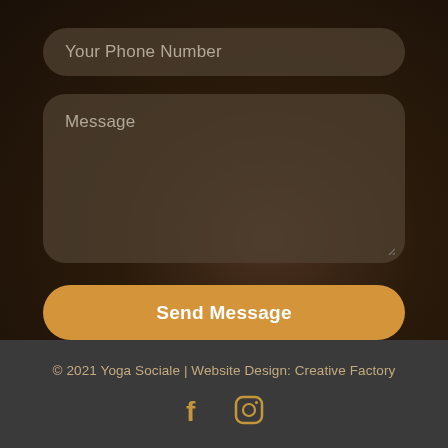[Figure (screenshot): Phone number input field placeholder]
[Figure (screenshot): Message textarea placeholder]
Send Message
© 2021 Yoga Sociale | Website Design: Creative Factory
[Figure (illustration): Facebook and Instagram social media icons]